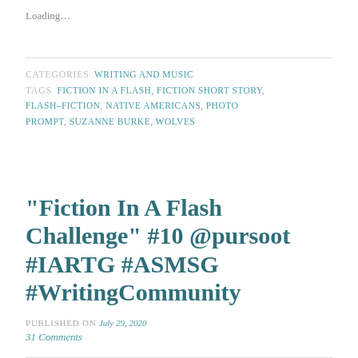Loading...
CATEGORIES  WRITING AND MUSIC
TAGS  FICTION IN A FLASH, FICTION SHORT STORY, FLASH–FICTION, NATIVE AMERICANS, PHOTO PROMPT, SUZANNE BURKE, WOLVES
“Fiction In A Flash Challenge” #10 @pursoot #IARTG #ASMSG #WritingCommunity
PUBLISHED ON July 29, 2020
31 Comments